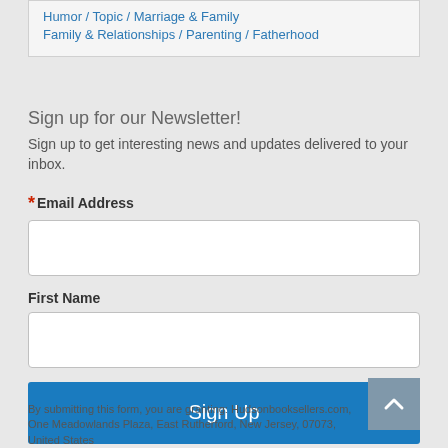Humor / Topic / Marriage & Family
Family & Relationships / Parenting / Fatherhood
Sign up for our Newsletter!
Sign up to get interesting news and updates delivered to your inbox.
*Email Address
First Name
Sign Up
By submitting this form, you are granting: Hudsonbooksellers.com, One Meadowlands Plaza, East Rutherford, New Jersey, 07073, United States